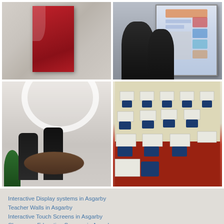[Figure (photo): Close-up of a red glass panel mounted on a marble/stone wall]
[Figure (photo): Two people in suits interacting with an interactive whiteboard/display screen]
[Figure (photo): Modern conference room interior with circular ceiling light, round table and black chairs]
[Figure (photo): Empty classroom with rows of blue chairs and white desks on red carpet]
Interactive Display systems in Asgarby
Teacher Walls in Asgarby
Interactive Touch Screens in Asgarby
Classroom Education Screens in Asgarby